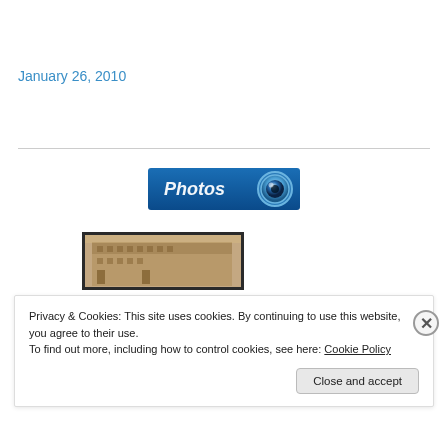January 26, 2010
[Figure (illustration): Blue 'Photos' banner button with a camera lens icon on the right side]
[Figure (photo): Sepia-toned historical photograph of a multi-story building]
Privacy & Cookies: This site uses cookies. By continuing to use this website, you agree to their use.
To find out more, including how to control cookies, see here: Cookie Policy
Close and accept